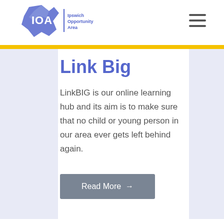[Figure (logo): IOA Ipswich Opportunity Area logo with blue map shape and text]
Link Big
LinkBIG is our online learning hub and its aim is to make sure that no child or young person in our area ever gets left behind again.
Read More →